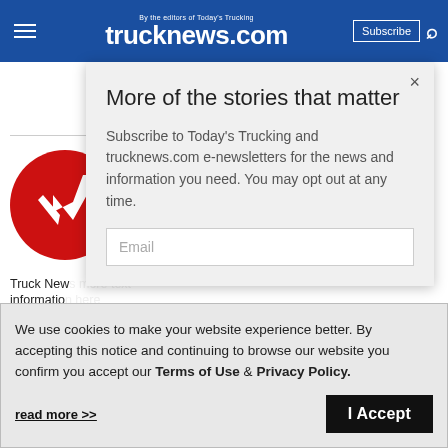trucknews.com — By the editors of Today's Trucking
[Figure (screenshot): Partial red circular logo/illustration visible on left side of page behind modal]
Truck New... informatio...
More of the stories that matter
Subscribe to Today's Trucking and trucknews.com e-newsletters for the news and information you need. You may opt out at any time.
We use cookies to make your website experience better. By accepting this notice and continuing to browse our website you confirm you accept our Terms of Use & Privacy Policy.
read more >>
I Accept